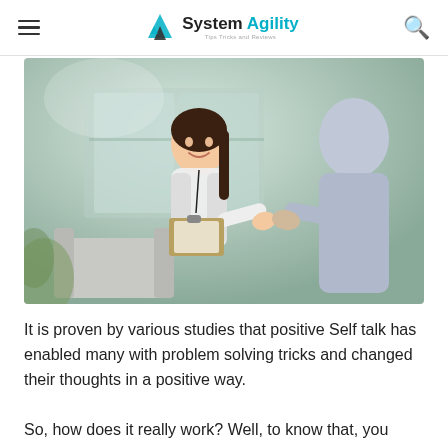System Agility — Tips Tricks and Reviews
[Figure (photo): A smiling woman in a white blazer shaking hands with a man across from her, with a clipboard on her lap, in a bright office or waiting room setting.]
It is proven by various studies that positive Self talk has enabled many with problem solving tricks and changed their thoughts in a positive way.
So, how does it really work? Well, to know that, you